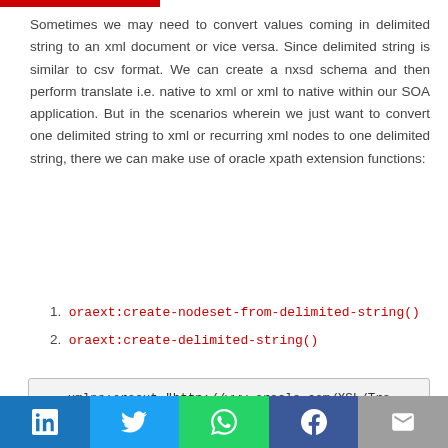Sometimes we may need to convert values coming in delimited string to an xml document or vice versa. Since delimited string is similar to csv format. We can create a nxsd schema and then perform translate i.e. native to xml or xml to native within our SOA application. But in the scenarios wherein we just want to convert one delimited string to xml or recurring xml nodes to one delimited string, there we can make use of oracle xpath extension functions:
1. oraext:create-nodeset-from-delimited-string()
2. oraext:create-delimited-string()
xmlns:oraext="http://www.oracle.com/XSL/Transform/java/oracle.tip.pc.services.functions.ExtFunc"
Note: Both functions can be used in XSLTs or BPELs extension activities